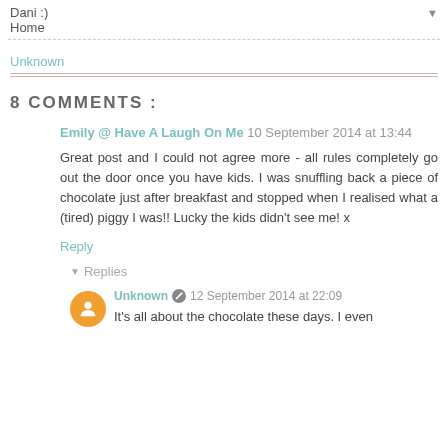Dani :)
Home
▼
Unknown
8 COMMENTS :
Emily @ Have A Laugh On Me  10 September 2014 at 13:44
Great post and I could not agree more - all rules completely go out the door once you have kids. I was snuffling back a piece of chocolate just after breakfast and stopped when I realised what a (tired) piggy I was!! Lucky the kids didn't see me! x
Reply
▼ Replies
Unknown  12 September 2014 at 22:09
It's all about the chocolate these days. I even